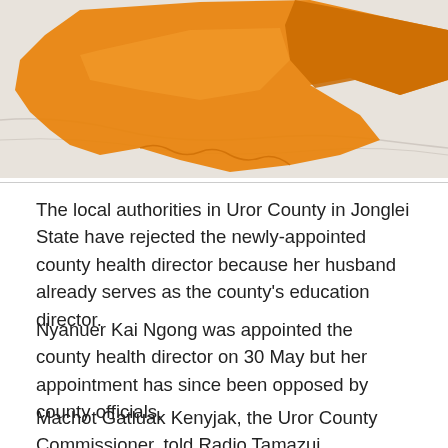[Figure (map): Map showing Uror County in Jonglei State, South Sudan. The county is highlighted in orange on a light grey background map.]
The local authorities in Uror County in Jonglei State have rejected the newly-appointed county health director because her husband already serves as the county's education director.
Nyanuer Kai Ngong was appointed the county health director on 30 May but her appointment has since been opposed by county officials.
Machot Gatluak Kenyjak, the Uror County Commissioner, told Radio Tamazuj Wednesday that they objected to the appointment because it would